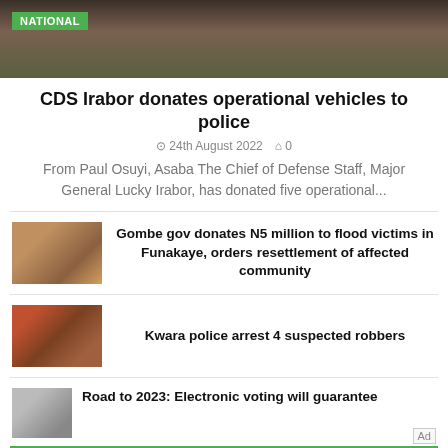[Figure (photo): Top image showing people with cameras, with a green NATIONAL badge overlay]
CDS Irabor donates operational vehicles to police
24th August 2022  0
From Paul Osuyi, Asaba The Chief of Defense Staff, Major General Lucky Irabor, has donated five operational...
[Figure (photo): Thumbnail of group of people in blue attire]
Gombe gov donates N5 million to flood victims in Funakaye, orders resettlement of affected community
[Figure (photo): Thumbnail of group of people]
Kwara police arrest 4 suspected robbers
[Figure (photo): Thumbnail portrait]
Road to 2023: Electronic voting will guarantee
[Figure (infographic): Green OPEN advertisement banner]
Invest In Real Estate Online
Ad